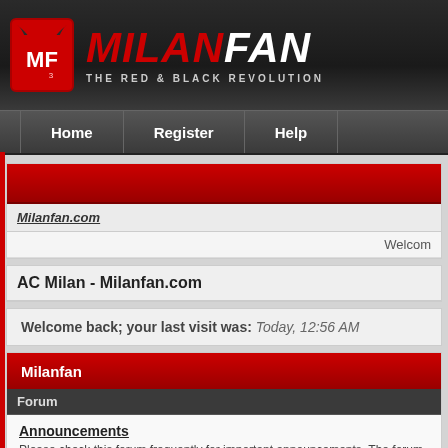[Figure (logo): MilanFan website logo with red MF box icon, red MILAN and white FAN text, tagline THE RED & BLACK REVOLUTION]
Home | Register | Help
Milanfan.com
Welcome
AC Milan - Milanfan.com
Welcome back; your last visit was: Today, 12:56 AM
Milanfan
Forum
Announcements
Please check this forum frequently for important announcements. The forum rules are also
Forum Led by: Moderators
Milanfan Trip Advisor
Plan your perfect trip to Milan with our vacation guides. Read and share tips with other Mila
Forum Led by: Moderators